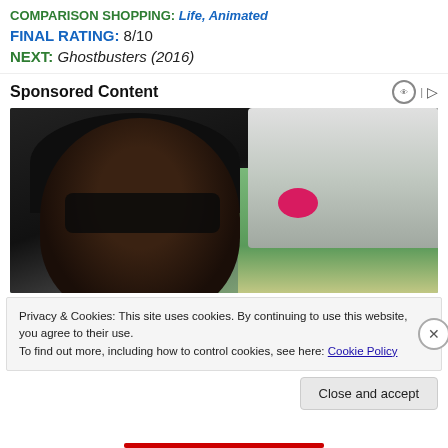COMPARISON SHOPPING: Life, Animated
FINAL RATING: 8/10
NEXT: Ghostbusters (2016)
Sponsored Content
[Figure (photo): A smiling man wearing a black cap and dark sunglasses taking a selfie with a young girl who has a pink bow in her hair. A white vehicle or trailer is visible in the background, with green grass and bare trees.]
Privacy & Cookies: This site uses cookies. By continuing to use this website, you agree to their use.
To find out more, including how to control cookies, see here: Cookie Policy
Close and accept